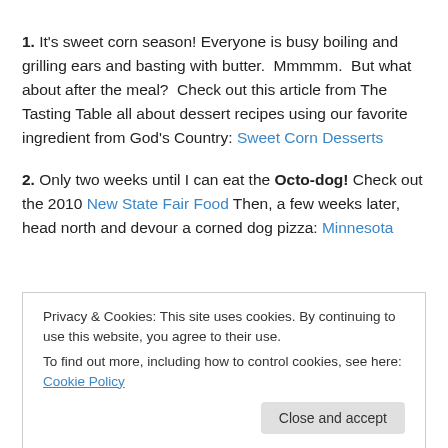1. It's sweet corn season! Everyone is busy boiling and grilling ears and basting with butter.  Mmmmm.  But what about after the meal?  Check out this article from The Tasting Table all about dessert recipes using our favorite ingredient from God's Country: Sweet Corn Desserts
2. Only two weeks until I can eat the Octo-dog! Check out the 2010 New State Fair Food Then, a few weeks later, head north and devour a corned dog pizza: Minnesota
Privacy & Cookies: This site uses cookies. By continuing to use this website, you agree to their use.
To find out more, including how to control cookies, see here: Cookie Policy